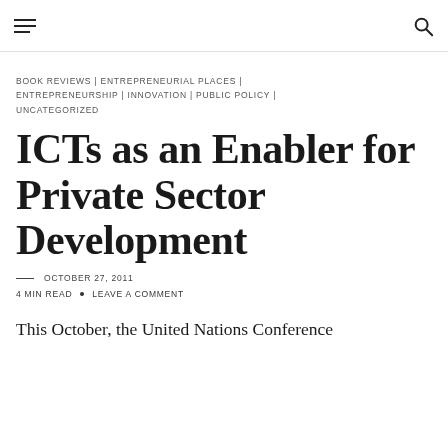≡  🔍
BOOK REVIEWS | ENTREPRENEURIAL PLACES | ENTREPRENEURSHIP | INNOVATION | PUBLIC POLICY | UNCATEGORIZED
ICTs as an Enabler for Private Sector Development
— OCTOBER 27, 2011
4 MIN READ • LEAVE A COMMENT
This October, the United Nations Conference on Trade and Development (UNCTAD)